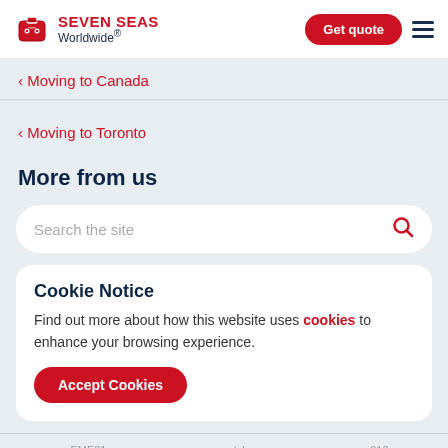Seven Seas Worldwide®
‹ Moving to Canada
‹ Moving to Toronto
More from us
Search the site
Cookie Notice
Find out more about how this website uses cookies to enhance your browsing experience.
Accept Cookies